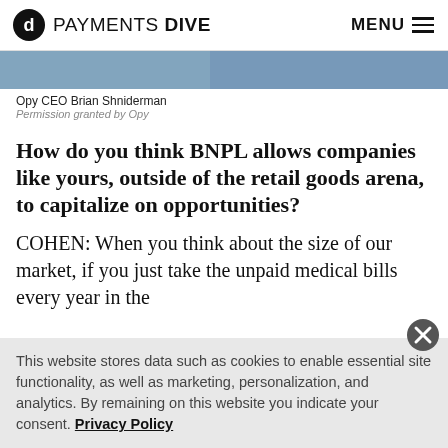PAYMENTS DIVE  MENU
[Figure (photo): Partial photo of Opy CEO Brian Shniderman, cropped at top of page]
Opy CEO Brian Shniderman
Permission granted by Opy
How do you think BNPL allows companies like yours, outside of the retail goods arena, to capitalize on opportunities?
COHEN: When you think about the size of our market, if you just take the unpaid medical bills every year in the
This website stores data such as cookies to enable essential site functionality, as well as marketing, personalization, and analytics. By remaining on this website you indicate your consent. Privacy Policy